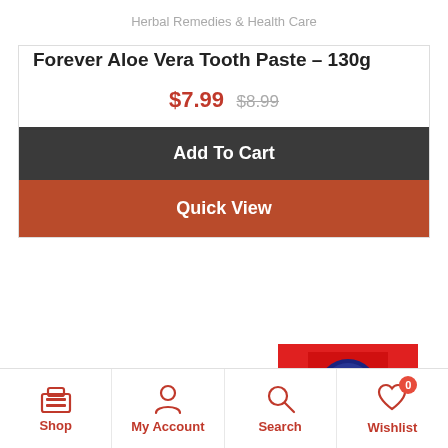Herbal Remedies & Health Care
Forever Aloe Vera Tooth Paste – 130g
$7.99  $8.99
Add To Cart
Quick View
[Figure (photo): Product box partially visible at bottom right]
Shop  My Account  Search  Wishlist